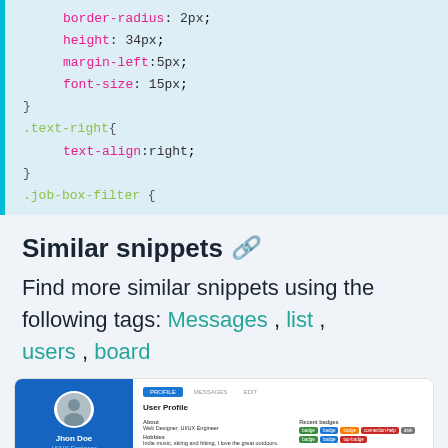[Figure (screenshot): CSS code block showing border-radius: 2px; height: 34px; margin-left:5px; font-size: 15px; } .text-right{ text-align:right; } .job-box-filter {]
Similar snippets 🔗
Find more similar snippets using the following tags: Messages , list , users , board
[Figure (screenshot): Preview thumbnail of a user profile UI component showing a blue sidebar with avatar, name 'Jhon Doe', role 'UI/UX Engineer', and a right panel with profile details, badges, and recent activity.]